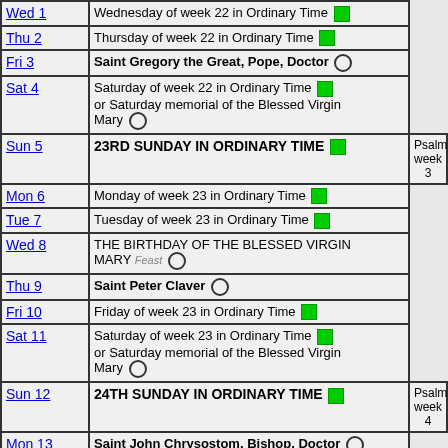| Day | Observance | Note |
| --- | --- | --- |
| Wed 1 | Wednesday of week 22 in Ordinary Time [green] |  |
| Thu 2 | Thursday of week 22 in Ordinary Time [green] |  |
| Fri 3 | Saint Gregory the Great, Pope, Doctor [circle] |  |
| Sat 4 | Saturday of week 22 in Ordinary Time [green] or Saturday memorial of the Blessed Virgin Mary [circle] |  |
| Sun 5 | 23RD SUNDAY IN ORDINARY TIME [green] | Psalm week 3 |
| Mon 6 | Monday of week 23 in Ordinary Time [green] |  |
| Tue 7 | Tuesday of week 23 in Ordinary Time [green] |  |
| Wed 8 | THE BIRTHDAY OF THE BLESSED VIRGIN MARY Feast [circle] |  |
| Thu 9 | Saint Peter Claver [circle] |  |
| Fri 10 | Friday of week 23 in Ordinary Time [green] |  |
| Sat 11 | Saturday of week 23 in Ordinary Time [green] or Saturday memorial of the Blessed Virgin Mary [circle] |  |
| Sun 12 | 24TH SUNDAY IN ORDINARY TIME [green] | Psalm week 4 |
| Mon 13 | Saint John Chrysostom, Bishop, Doctor [circle] |  |
| Tue 14 | THE EXALTATION OF THE HOLY CROSS |  |